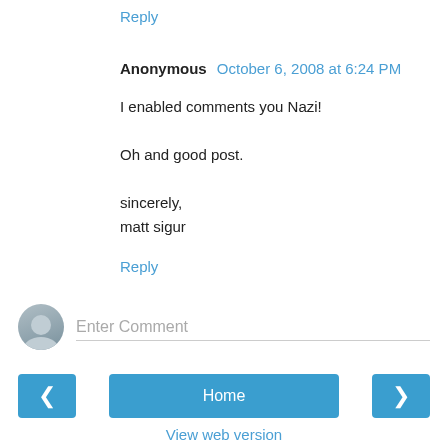Reply
Anonymous October 6, 2008 at 6:24 PM
I enabled comments you Nazi!

Oh and good post.

sincerely,
matt sigur
Reply
Enter Comment
Home
View web version